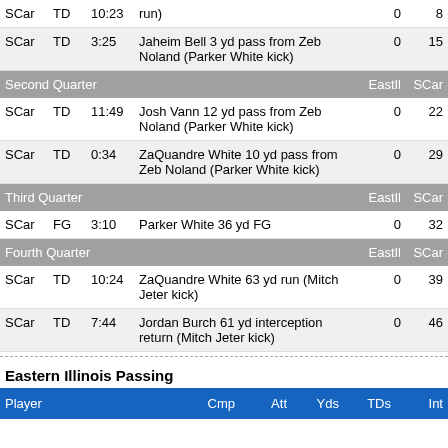| Team | Type | Time | Description | EastIl | SCar |
| --- | --- | --- | --- | --- | --- |
| SCar | TD | 10:23 | (run) | 0 | 8 |
| SCar | TD | 3:25 | Jaheim Bell 3 yd pass from Zeb Noland (Parker White kick) | 0 | 15 |
| QUARTER | Second Quarter |  |  | EastIl | SCar |
| SCar | TD | 11:49 | Josh Vann 12 yd pass from Zeb Noland (Parker White kick) | 0 | 22 |
| SCar | TD | 0:34 | ZaQuandre White 10 yd pass from Zeb Noland (Parker White kick) | 0 | 29 |
| QUARTER | Third Quarter |  |  | EastIl | SCar |
| SCar | FG | 3:10 | Parker White 36 yd FG | 0 | 32 |
| QUARTER | Fourth Quarter |  |  | EastIl | SCar |
| SCar | TD | 10:24 | ZaQuandre White 63 yd run (Mitch Jeter kick) | 0 | 39 |
| SCar | TD | 7:44 | Jordan Burch 61 yd interception return (Mitch Jeter kick) | 0 | 46 |
Eastern Illinois Passing
| Player | Cmp | Att | Yds | TDs | Int |
| --- | --- | --- | --- | --- | --- |